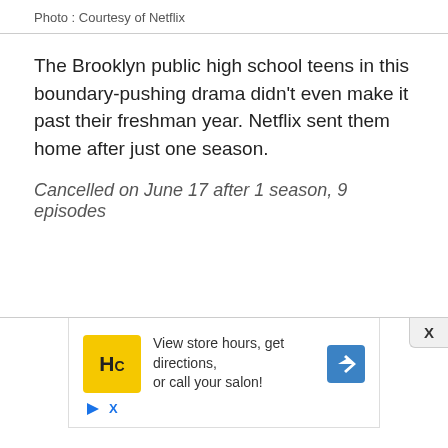Photo : Courtesy of Netflix
The Brooklyn public high school teens in this boundary-pushing drama didn't even make it past their freshman year. Netflix sent them home after just one season.
Cancelled on June 17 after 1 season, 9 episodes
[Figure (other): Advertisement banner with HC (Hair Club) logo, text 'View store hours, get directions, or call your salon!' and a blue navigation arrow icon]